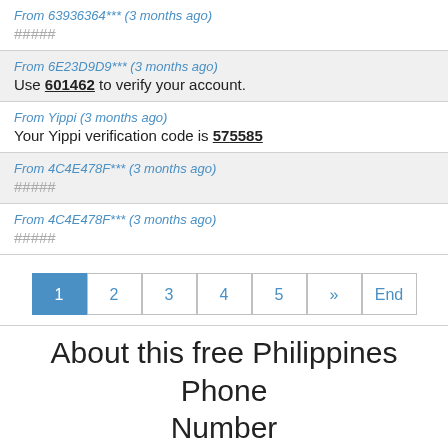From 63936364*** (3 months ago)
#####
From 6E23D9D9*** (3 months ago)
Use 601462 to verify your account.
From Yippi (3 months ago)
Your Yippi verification code is 575585
From 4C4E478F*** (3 months ago)
#####
From 4C4E478F*** (3 months ago)
#####
1 2 3 4 5 » End
About this free Philippines Phone Number